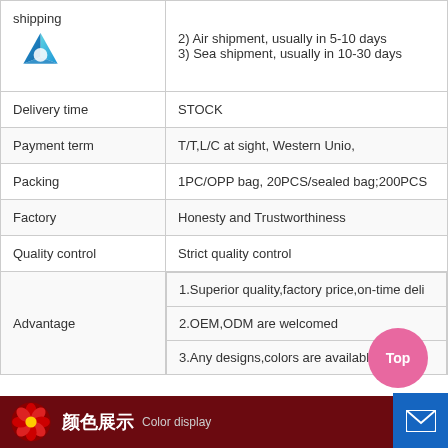|  |  |
| --- | --- |
| shipping | 2) Air shipment, usually in 5-10 days
3) Sea shipment, usually in 10-30 days |
| Delivery time | STOCK |
| Payment term | T/T,L/C at sight, Western Unio, |
| Packing | 1PC/OPP bag, 20PCS/sealed bag;200PCS |
| Factory | Honesty and Trustworthiness |
| Quality control | Strict quality control |
| Advantage | 1.Superior quality,factory price,on-time deli
2.OEM,ODM are welcomed
3.Any designs,colors are available for your |
[Figure (other): Footer banner with dark red background, flower image, Chinese text '颜色展示' and English 'Color display']